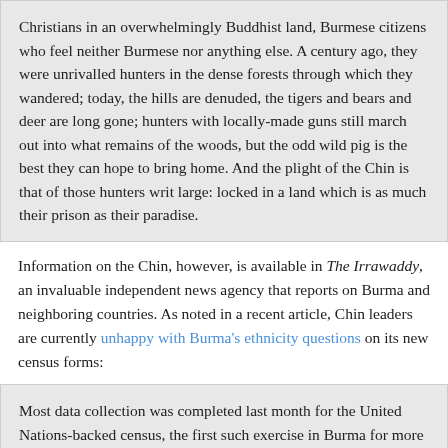Christians in an overwhelmingly Buddhist land, Burmese citizens who feel neither Burmese nor anything else. A century ago, they were unrivalled hunters in the dense forests through which they wandered; today, the hills are denuded, the tigers and bears and deer are long gone; hunters with locally-made guns still march out into what remains of the woods, but the odd wild pig is the best they can hope to bring home. And the plight of the Chin is that of those hunters writ large: locked in a land which is as much their prison as their paradise.
Information on the Chin, however, is available in The Irrawaddy, an invaluable independent news agency that reports on Burma and neighboring countries. As noted in a recent article, Chin leaders are currently unhappy with Burma's ethnicity questions on its new census forms:
Most data collection was completed last month for the United Nations-backed census, the first such exercise in Burma for more than 30 years. One question asked by volunteer enumerators was on ethnicity, a sensitive subject in Burma, where the official list of 135 ethnic groups is highly controversial.